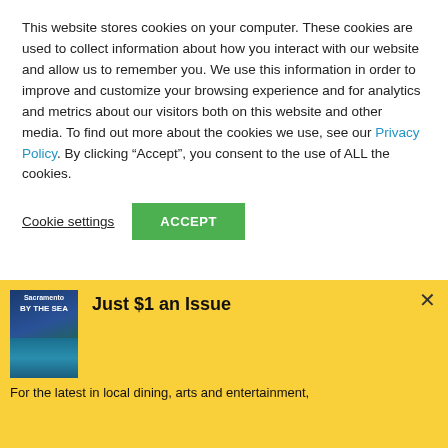This website stores cookies on your computer. These cookies are used to collect information about how you interact with our website and allow us to remember you. We use this information in order to improve and customize your browsing experience and for analytics and metrics about our visitors both on this website and other media. To find out more about the cookies we use, see our Privacy Policy. By clicking “Accept”, you consent to the use of ALL the cookies.
Cookie settings  ACCEPT
Just $1 an Issue
For the latest in local dining, arts and entertainment,